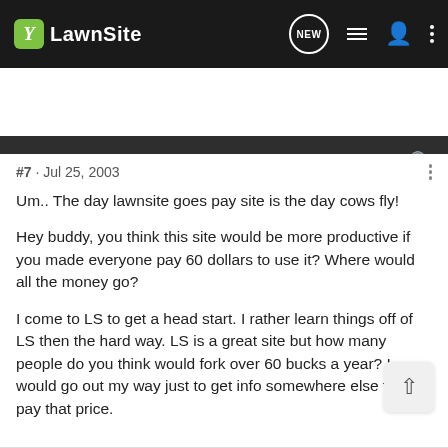LawnSite
#7 · Jul 25, 2003
Um.. The day lawnsite goes pay site is the day cows fly!

Hey buddy, you think this site would be more productive if you made everyone pay 60 dollars to use it? Where would all the money go?

I come to LS to get a head start. I rather learn things off of LS then the hard way. LS is a great site but how many people do you think would fork over 60 bucks a year? I would go out my way just to get info somewhere else then pay that price.